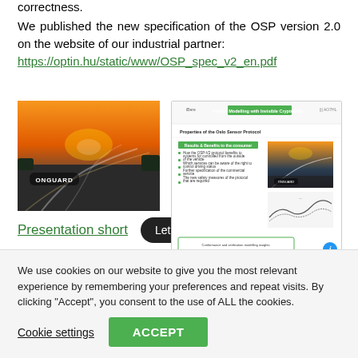correctness.
We published the new specification of the OSP version 2.0 on the website of our industrial partner: https://optin.hu/static/www/OSP_spec_v2_en.pdf
[Figure (photo): Aerial photo of highway interchange at sunset, labeled ONGUARD]
Presentation short  Letöltés
[Figure (screenshot): Screenshot of a presentation slide about formal methods and cryptography with highway photo and graphs]
Presentation medium  Letöltés
We use cookies on our website to give you the most relevant experience by remembering your preferences and repeat visits. By clicking "Accept", you consent to the use of ALL the cookies.
Cookie settings  ACCEPT